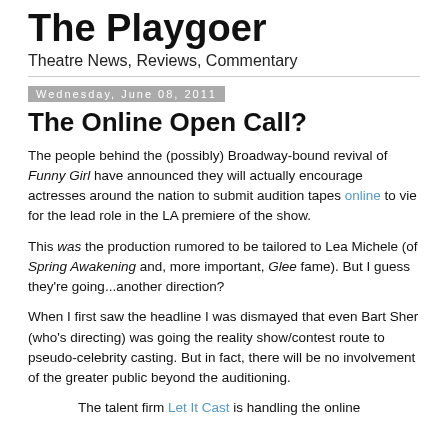The Playgoer
Theatre News, Reviews, Commentary
Wednesday, June 08, 2011
The Online Open Call?
The people behind the (possibly) Broadway-bound revival of Funny Girl have announced they will actually encourage actresses around the nation to submit audition tapes online to vie for the lead role in the LA premiere of the show.
This was the production rumored to be tailored to Lea Michele (of Spring Awakening and, more important, Glee fame). But I guess they're going...another direction?
When I first saw the headline I was dismayed that even Bart Sher (who's directing) was going the reality show/contest route to pseudo-celebrity casting. But in fact, there will be no involvement of the greater public beyond the auditioning.
The talent firm Let It Cast is handling the online ...